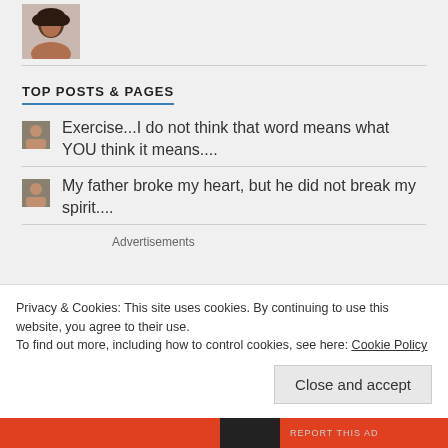[Figure (photo): Small circular profile photo of a woman with dark hair]
TOP POSTS & PAGES
Exercise...I do not think that word means what YOU think it means....
My father broke my heart, but he did not break my spirit....
Advertisements
Privacy & Cookies: This site uses cookies. By continuing to use this website, you agree to their use.
To find out more, including how to control cookies, see here: Cookie Policy
Close and accept